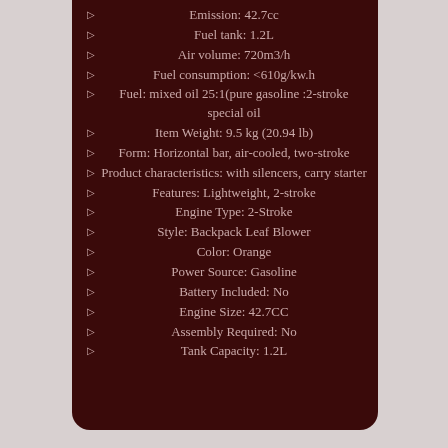Emission: 42.7cc
Fuel tank: 1.2L
Air volume: 720m3/h
Fuel consumption: <610g/kw.h
Fuel: mixed oil 25:1(pure gasoline :2-stroke special oil
Item Weight: 9.5 kg (20.94 lb)
Form: Horizontal bar, air-cooled, two-stroke
Product characteristics: with silencers, carry starter
Features: Lightweight, 2-stroke
Engine Type: 2-Stroke
Style: Backpack Leaf Blower
Color: Orange
Power Source: Gasoline
Battery Included: No
Engine Size: 42.7CC
Assembly Required: No
Tank Capacity: 1.2L